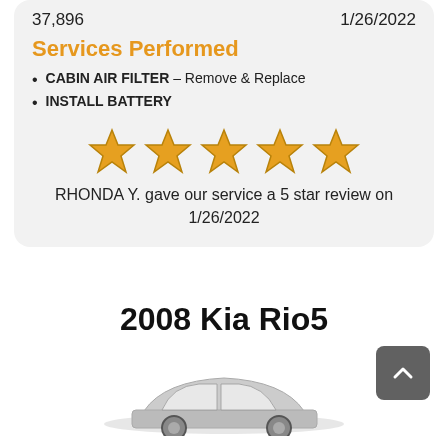37,896 | 1/26/2022
Services Performed
CABIN AIR FILTER – Remove & Replace
INSTALL BATTERY
[Figure (infographic): Five gold star rating icons displayed in a row]
RHONDA Y. gave our service a 5 star review on 1/26/2022
2008 Kia Rio5
[Figure (illustration): Partial illustration of a car (2008 Kia Rio5) visible at the bottom of the page, along with a dark grey scroll-to-top button with an upward chevron arrow]